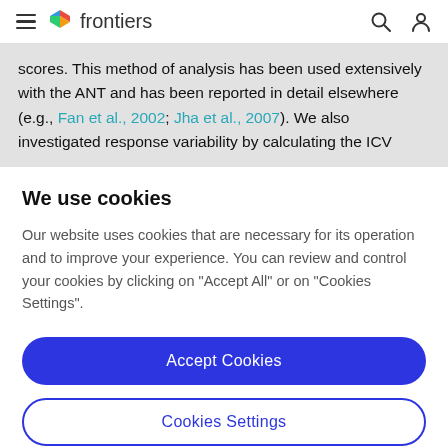frontiers
scores. This method of analysis has been used extensively with the ANT and has been reported in detail elsewhere (e.g., Fan et al., 2002; Jha et al., 2007). We also investigated response variability by calculating the ICV
We use cookies
Our website uses cookies that are necessary for its operation and to improve your experience. You can review and control your cookies by clicking on "Accept All" or on "Cookies Settings".
Accept Cookies
Cookies Settings